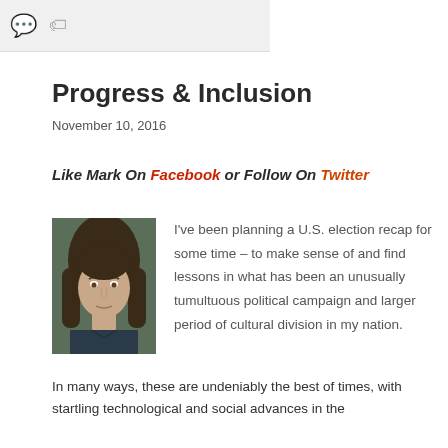[icons: comment, tag]
Progress & Inclusion
November 10, 2016
Like Mark On Facebook or Follow On Twitter
[Figure (photo): Portrait photo of a middle-aged man with long brown hair, wearing a dark shirt, outdoors]
I've been planning a U.S. election recap for some time – to make sense of and find lessons in what has been an unusually tumultuous political campaign and larger period of cultural division in my nation.
In many ways, these are undeniably the best of times, with startling technological and social advances in the